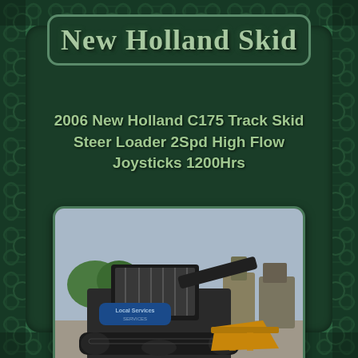New Holland Skid
2006 New Holland C175 Track Skid Steer Loader 2Spd High Flow Joysticks 1200Hrs
[Figure (photo): Photograph of a 2006 New Holland C175 Track Skid Steer Loader with rubber tracks and a front bucket attachment, in a equipment yard setting with other machinery visible in the background. An eBay watermark is visible at the bottom center of the photo.]